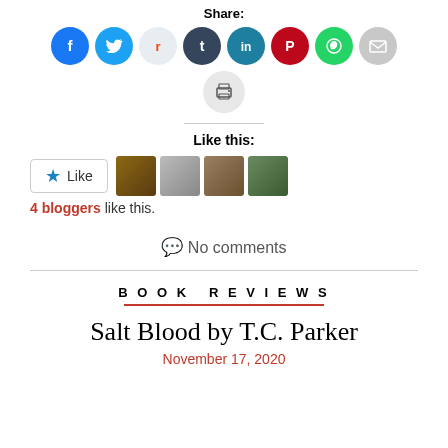Share:
[Figure (infographic): Row of social media share icons: Facebook (blue), Twitter (light blue), Reddit (light blue-grey), Tumblr (dark blue), LinkedIn (teal), Pinterest (red), WhatsApp (green), Email (grey), and a print icon below.]
Like this:
[Figure (infographic): WordPress Like widget showing a star Like button and four blogger avatar thumbnails]
4 bloggers like this.
No comments
BOOK REVIEWS
Salt Blood by T.C. Parker
November 17, 2020